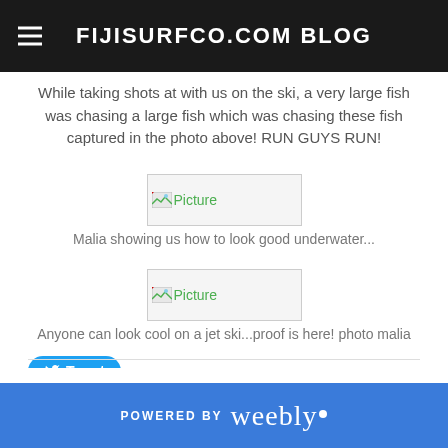FIJISURFCO.COM BLOG
While taking shots at with us on the ski, a very large fish was chasing a large fish which was chasing these fish captured in the photo above! RUN GUYS RUN!
[Figure (photo): Placeholder image (broken image icon with 'Picture' text)]
Malia showing us how to look good underwater...
[Figure (photo): Placeholder image (broken image icon with 'Picture' text)]
Anyone can look cool on a jet ski...proof is here! photo malia
Tweet
0 Comments
POWERED BY weebly